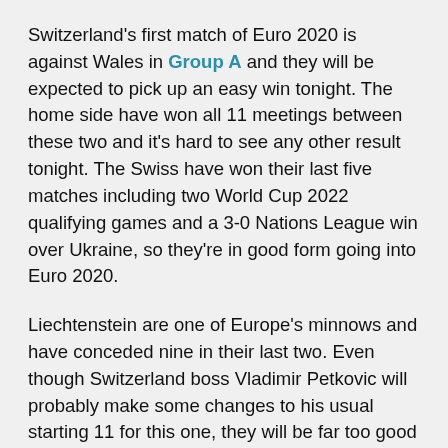Switzerland's first match of Euro 2020 is against Wales in Group A and they will be expected to pick up an easy win tonight. The home side have won all 11 meetings between these two and it's hard to see any other result tonight. The Swiss have won their last five matches including two World Cup 2022 qualifying games and a 3-0 Nations League win over Ukraine, so they're in good form going into Euro 2020.
Liechtenstein are one of Europe's minnows and have conceded nine in their last two. Even though Switzerland boss Vladimir Petkovic will probably make some changes to his usual starting 11 for this one, they will be far too good for tonight's opponents.
Switzerland to score over 3.5 goals – 4/6 with Betfred.